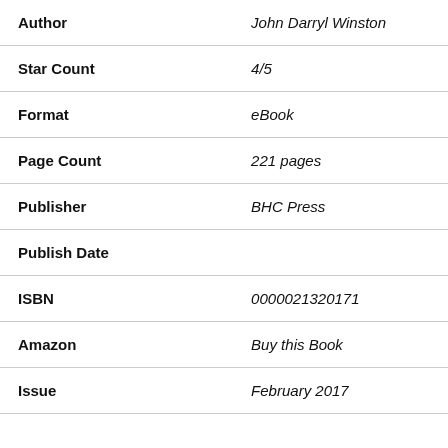| Field | Value |
| --- | --- |
| Author | John Darryl Winston |
| Star Count | 4/5 |
| Format | eBook |
| Page Count | 221 pages |
| Publisher | BHC Press |
| Publish Date |  |
| ISBN | 0000021320171 |
| Amazon | Buy this Book |
| Issue | February 2017 |